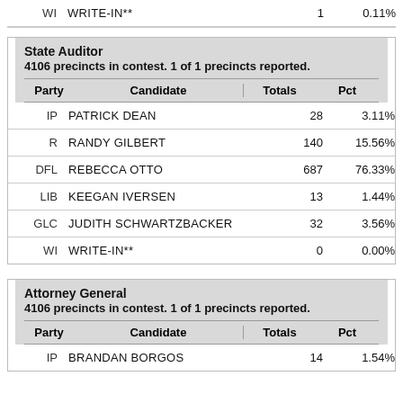| Party | Candidate | Totals | Pct |
| --- | --- | --- | --- |
| WI | WRITE-IN** | 1 | 0.11% |
State Auditor
4106 precincts in contest. 1 of 1 precincts reported.
| Party | Candidate | Totals | Pct |
| --- | --- | --- | --- |
| IP | PATRICK DEAN | 28 | 3.11% |
| R | RANDY GILBERT | 140 | 15.56% |
| DFL | REBECCA OTTO | 687 | 76.33% |
| LIB | KEEGAN IVERSEN | 13 | 1.44% |
| GLC | JUDITH SCHWARTZBACKER | 32 | 3.56% |
| WI | WRITE-IN** | 0 | 0.00% |
Attorney General
4106 precincts in contest. 1 of 1 precincts reported.
| Party | Candidate | Totals | Pct |
| --- | --- | --- | --- |
| IP | BRANDAN BORGOS | 14 | 1.54% |